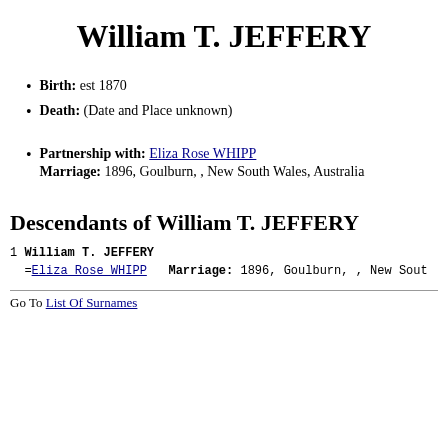William T. JEFFERY
Birth: est 1870
Death: (Date and Place unknown)
Partnership with: Eliza Rose WHIPP
Marriage: 1896, Goulburn, , New South Wales, Australia
Descendants of William T. JEFFERY
1  William T. JEFFERY
  =Eliza Rose WHIPP   Marriage: 1896, Goulburn, , New Sout
Go To List Of Surnames